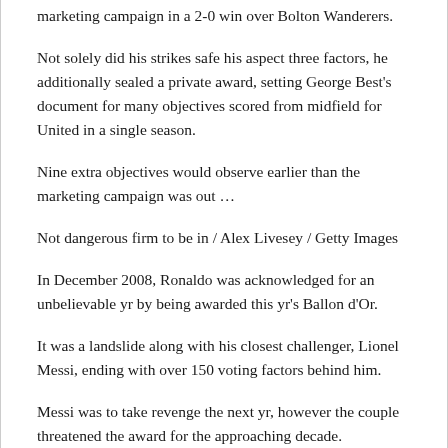marketing campaign in a 2-0 win over Bolton Wanderers.
Not solely did his strikes safe his aspect three factors, he additionally sealed a private award, setting George Best's document for many objectives scored from midfield for United in a single season.
Nine extra objectives would observe earlier than the marketing campaign was out …
Not dangerous firm to be in / Alex Livesey / Getty Images
In December 2008, Ronaldo was acknowledged for an unbelievable yr by being awarded this yr's Ballon d'Or.
It was a landslide along with his closest challenger, Lionel Messi, ending with over 150 voting factors behind him.
Messi was to take revenge the next yr, however the couple threatened the award for the approaching decade.